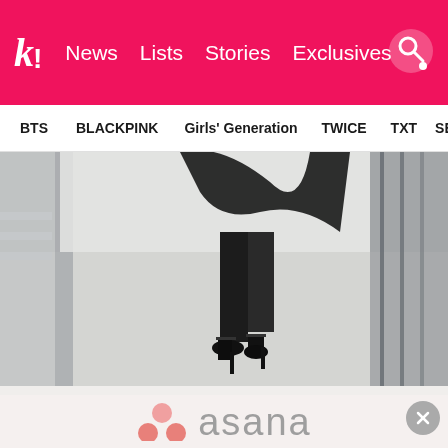K! News  Lists  Stories  Exclusives
BTS  BLACKPINK  Girls' Generation  TWICE  TXT  SEVE
[Figure (photo): Close-up photo of a person walking in a hallway, wearing black pants and black strap heels, with a flowing black garment, light grey concrete floor and pillars in background]
[Figure (logo): Asana logo with pink dots (three dots arranged in triangle pattern) and grey text 'asana']